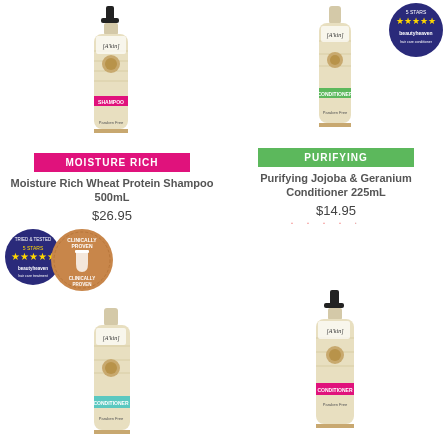[Figure (photo): A'kin Moisture Rich Wheat Protein Shampoo 500mL bottle with pink MOISTURE RICH label badge]
MOISTURE RICH
Moisture Rich Wheat Protein Shampoo 500mL
$26.95
★★★★☆ (18)
[Figure (photo): A'kin Purifying Jojoba & Geranium Conditioner 225mL bottle with green PURIFYING label badge and 5-star Beautyheaven badge overlay]
PURIFYING
Purifying Jojoba & Geranium Conditioner 225mL
$14.95
★★★★☆ (66)
[Figure (photo): A'kin conditioner bottle with Tried & Tested 5-star Beautyheaven badge and Clinically Proven badge overlaid]
[Figure (photo): A'kin Moisture Rich conditioner bottle]